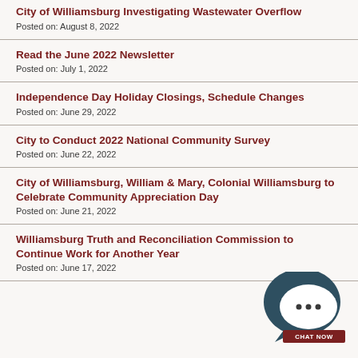City of Williamsburg Investigating Wastewater Overflow
Posted on: August 8, 2022
Read the June 2022 Newsletter
Posted on: July 1, 2022
Independence Day Holiday Closings, Schedule Changes
Posted on: June 29, 2022
City to Conduct 2022 National Community Survey
Posted on: June 22, 2022
City of Williamsburg, William & Mary, Colonial Williamsburg to Celebrate Community Appreciation Day
Posted on: June 21, 2022
Williamsburg Truth and Reconciliation Commission to Continue Work for Another Year
Posted on: June 17, 2022